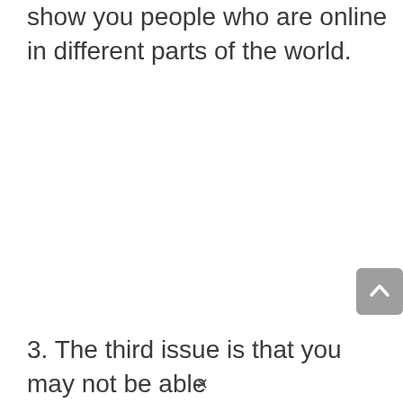show you people who are online in different parts of the world.
3. The third issue is that you may not be able